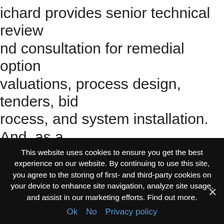ichard provides senior technical review nd consultation for remedial option valuations, process design, tenders, bid rocess, and system installation. And, as a ublished professional in the areas of astewater treatment and contaminated te management, Richard presents at local nd international conference and is sought ut for his technical and project management skills.
ichard believes strongly in continuing rofessional development and has
This website uses cookies to ensure you get the best experience on our website. By continuing to use this site, you agree to the storing of first- and third-party cookies on your device to enhance site navigation, analyze site usage, and assist in our marketing efforts. Find out more.
Ok  No  Privacy policy